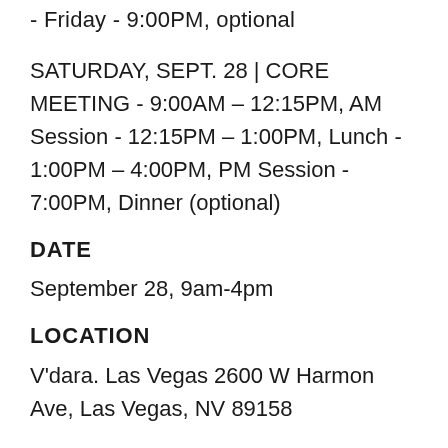- Friday - 9:00PM, optional
SATURDAY, SEPT. 28 | CORE MEETING - 9:00AM – 12:15PM, AM Session - 12:15PM – 1:00PM, Lunch - 1:00PM – 4:00PM, PM Session - 7:00PM, Dinner (optional)
DATE
September 28, 9am-4pm
LOCATION
V'dara. Las Vegas 2600 W Harmon Ave, Las Vegas, NV 89158